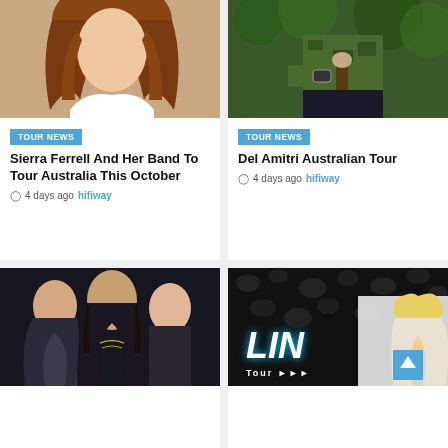[Figure (photo): Woman with long auburn wavy hair wearing white blouse]
[Figure (photo): Tattooed person in camouflage jacket holding a cane, outdoors]
TOUR NEWS
Sierra Ferrell And Her Band To Tour Australia This October
4 days ago  hifiway
TOUR NEWS
Del Amitri Australian Tour
4 days ago  hifiway
[Figure (photo): Metal band - three men with long hair in dark clothing]
[Figure (photo): Dark promotional image with LIN text and Tour text, with a scroll-to-top button]